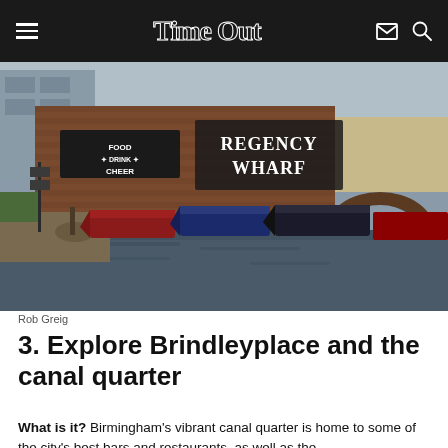Time Out
[Figure (photo): Narrow boats moored at Regency Wharf on Birmingham's canal, with brick warehouse buildings and a bridge in the background. Signs on the wall read 'FOOD DRINK CHEER' and 'REGENCY WHARF'.]
Rob Greig
3. Explore Brindleyplace and the canal quarter
What is it? Birmingham's vibrant canal quarter is home to some of the city's best bars and restaurants, as well as the